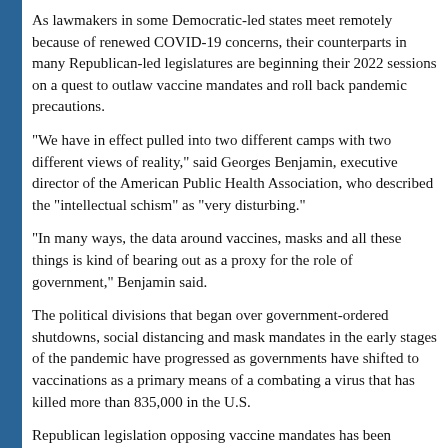As lawmakers in some Democratic-led states meet remotely because of renewed COVID-19 concerns, their counterparts in many Republican-led legislatures are beginning their 2022 sessions on a quest to outlaw vaccine mandates and roll back pandemic precautions.
"We have in effect pulled into two different camps with two different views of reality," said Georges Benjamin, executive director of the American Public Health Association, who described the "intellectual schism" as "very disturbing."
"In many ways, the data around vaccines, masks and all these things is kind of bearing out as a proxy for the role of government," Benjamin said.
The political divisions that began over government-ordered shutdowns, social distancing and mask mandates in the early stages of the pandemic have progressed as governments have shifted to vaccinations as a primary means of a combating a virus that has killed more than 835,000 in the U.S.
Republican legislation opposing vaccine mandates has been spurred largely by rules from President Joe Biden's administration requiring COVID-19 vaccinations or regular testing for large and medium-sized employers, health care providers and federal contractors. Many Democratic governors also have issued vaccine or testing requirements for government workers, heath care facilities, schools or child-care providers.